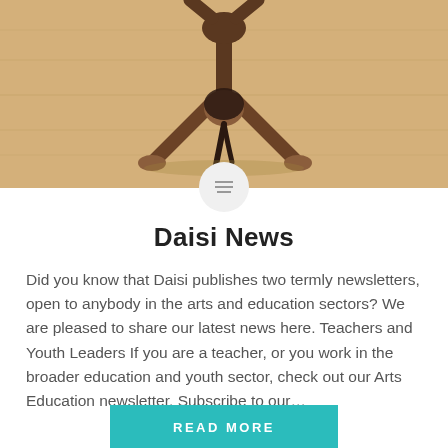[Figure (photo): Person doing a yoga/stretching pose on a wooden floor, viewed from behind, braided hair hanging down]
Daisi News
Did you know that Daisi publishes two termly newsletters, open to anybody in the arts and education sectors? We are pleased to share our latest news here. Teachers and Youth Leaders If you are a teacher, or you work in the broader education and youth sector, check out our Arts Education newsletter. Subscribe to our...
READ MORE